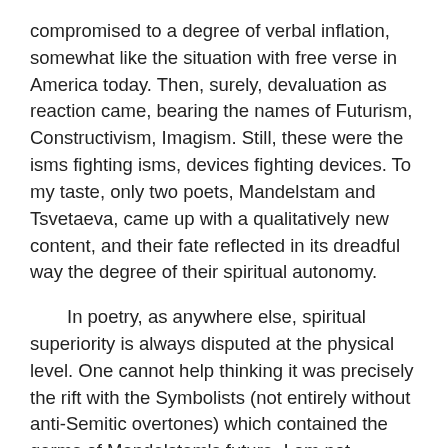compromised to a degree of verbal inflation, somewhat like the situation with free verse in America today. Then, surely, devaluation as reaction came, bearing the names of Futurism, Constructivism, Imagism. Still, these were the isms fighting isms, devices fighting devices. To my taste, only two poets, Mandelstam and Tsvetaeva, came up with a qualitatively new content, and their fate reflected in its dreadful way the degree of their spiritual autonomy.
In poetry, as anywhere else, spiritual superiority is always disputed at the physical level. One cannot help thinking it was precisely the rift with the Symbolists (not entirely without anti-Semitic overtones) which contained the germs of Mandelstam's future. I am not referring so much to Georgi Ivanov's sneering at Mandelstam's poem in 1917 which was then echoed by the official ostracism of the thirties, but to Mandelstam's growing separation from any form of mass production, especially linguistic and psychological, the result was an effect in which the clearer